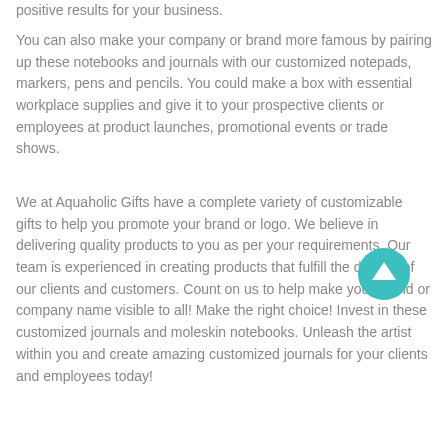positive results for your business.
You can also make your company or brand more famous by pairing up these notebooks and journals with our customized notepads, markers, pens and pencils. You could make a box with essential workplace supplies and give it to your prospective clients or employees at product launches, promotional events or trade shows.
We at Aquaholic Gifts have a complete variety of customizable gifts to help you promote your brand or logo. We believe in delivering quality products to you as per your requirements. Our team is experienced in creating products that fulfill the desires of our clients and customers. Count on us to help make your brand or company name visible to all! Make the right choice! Invest in these customized journals and moleskin notebooks. Unleash the artist within you and create amazing customized journals for your clients and employees today!
[Figure (other): A teal/cyan circular scroll-to-top button with an upward-pointing arrow icon]